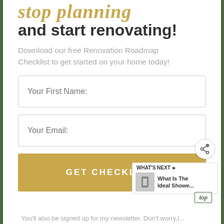stop planning and start renovating!
Download our free Renovation Roadmap Checklist to get started on your home today!
Your First Name:
Your Email:
GET CHECKLIST!
[Figure (other): Share icon button (circle with share symbol)]
[Figure (other): What's Next panel showing thumbnail image and text: What Is The Ideal Showe...]
top
You'll also be signed up for my newsletter. Don't worry,I...